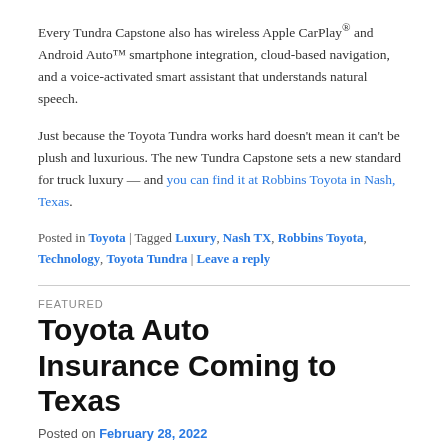Every Tundra Capstone also has wireless Apple CarPlay® and Android Auto™ smartphone integration, cloud-based navigation, and a voice-activated smart assistant that understands natural speech.
Just because the Toyota Tundra works hard doesn't mean it can't be plush and luxurious. The new Tundra Capstone sets a new standard for truck luxury — and you can find it at Robbins Toyota in Nash, Texas.
Posted in Toyota | Tagged Luxury, Nash TX, Robbins Toyota, Technology, Toyota Tundra | Leave a reply
FEATURED
Toyota Auto Insurance Coming to Texas
Posted on February 28, 2022
As with many states, Texas requires drivers by law to carry auto insurance. But it can be difficult to time your insurance...